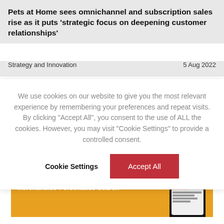Pets at Home sees omnichannel and subscription sales rise as it puts 'strategic focus on deepening customer relationships'
Strategy and Innovation    5 Aug 2022
We use cookies on our website to give you the most relevant experience by remembering your preferences and repeat visits. By clicking "Accept All", you consent to the use of ALL the cookies. However, you may visit "Cookie Settings" to provide a controlled consent.
Cookie Settings    Accept All
[Figure (screenshot): Advertisement banner for www.advancedcommerce.io with orange background, showing a smartphone mockup and text 'Merchandise-Personalise-Search']